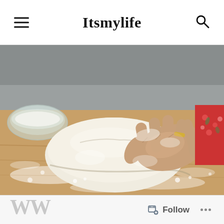Itsmylife
[Figure (photo): Hands kneading bread dough on a floured wooden surface, with a glass bowl of flour visible in the background. The person is wearing a red floral top and a ring.]
WW
Follow ...